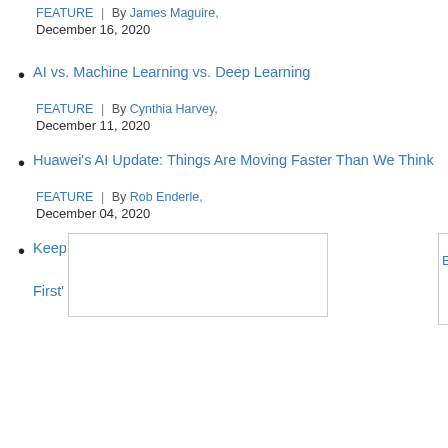FEATURE | By James Maguire,
December 16, 2020
AI vs. Machine Learning vs. Deep Learning
FEATURE | By Cynthia Harvey,
December 11, 2020
Huawei's AI Update: Things Are Moving Faster Than We Think
FEATURE | By Rob Enderle,
December 04, 2020
Keep ... Ethics-First'